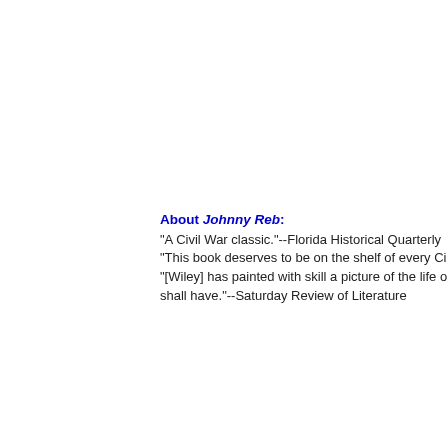About Johnny Reb:
"A Civil War classic."--Florida Historical Quarterly "This book deserves to be on the shelf of every Ci... "[Wiley] has painted with skill a picture of the life o... shall have."--Saturday Review of Literature